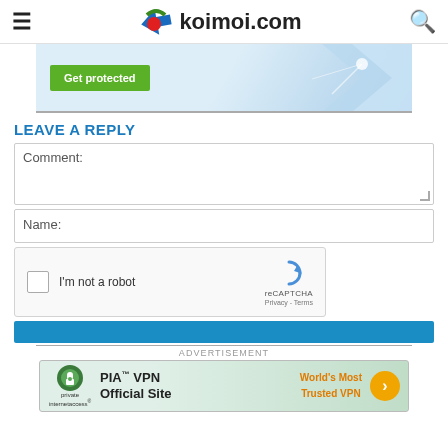koimoi.com
[Figure (screenshot): Advertisement banner with 'Get protected' green button and blue geometric design]
LEAVE A REPLY
Comment:
Name:
[Figure (screenshot): reCAPTCHA widget with checkbox 'I'm not a robot']
[Figure (screenshot): PIA VPN advertisement - 'PIA VPN Official Site' with 'World's Most Trusted VPN' text]
ADVERTISEMENT